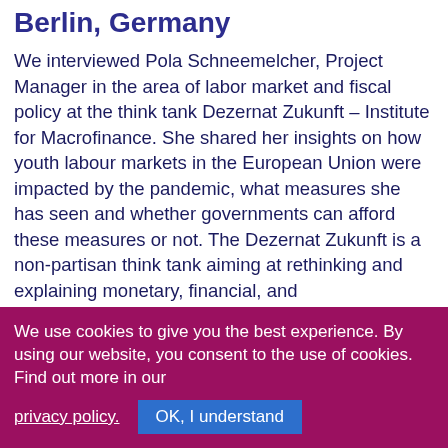Berlin, Germany
We interviewed Pola Schneemelcher, Project Manager in the area of labor market and fiscal policy at the think tank Dezernat Zukunft – Institute for Macrofinance. She shared her insights on how youth labour markets in the European Union were impacted by the pandemic, what measures she has seen and whether governments can afford these measures or not. The Dezernat Zukunft is a non-partisan think tank aiming at rethinking and explaining monetary, financial, and
We use cookies to give you the best experience. By using our website, you consent to the use of cookies. Find out more in our privacy policy. OK, I understand